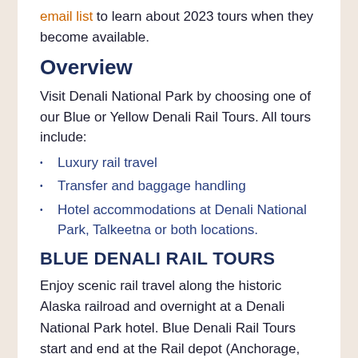email list to learn about 2023 tours when they become available.
Overview
Visit Denali National Park by choosing one of our Blue or Yellow Denali Rail Tours. All tours include:
Luxury rail travel
Transfer and baggage handling
Hotel accommodations at Denali National Park, Talkeetna or both locations.
BLUE DENALI RAIL TOURS
Enjoy scenic rail travel along the historic Alaska railroad and overnight at a Denali National Park hotel. Blue Denali Rail Tours start and end at the Rail depot (Anchorage, Fairbanks or both) and range from 1 to 4 nights in the Denali area.